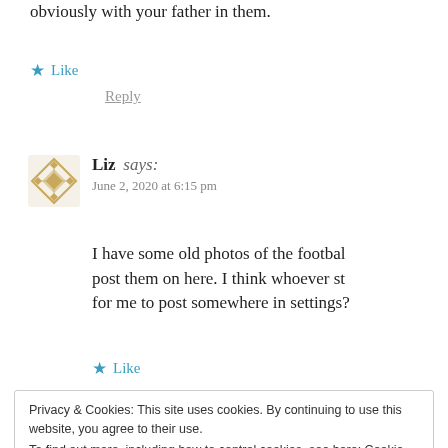obviously with your father in them.
★ Like
Reply
[Figure (illustration): User avatar icon — decorative geometric diamond/cross pattern in gold/tan color]
Liz says: June 2, 2020 at 6:15 pm
I have some old photos of the football post them on here. I think whoever sta for me to post somewhere in settings?
★ Like
Privacy & Cookies: This site uses cookies. By continuing to use this website, you agree to their use.
To find out more, including how to control cookies, see here: Cookie Policy
Close and accept